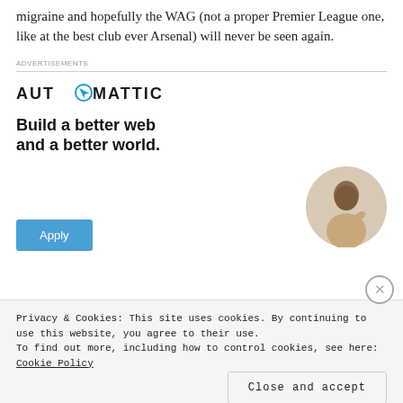migraine and hopefully the WAG (not a proper Premier League one, like at the best club ever Arsenal) will never be seen again.
ADVERTISEMENTS
[Figure (logo): Automattic company logo with compass icon]
Build a better web and a better world.
[Figure (photo): Person sitting and thinking, shown in a circular crop]
Apply
Privacy & Cookies: This site uses cookies. By continuing to use this website, you agree to their use.
To find out more, including how to control cookies, see here: Cookie Policy
Close and accept